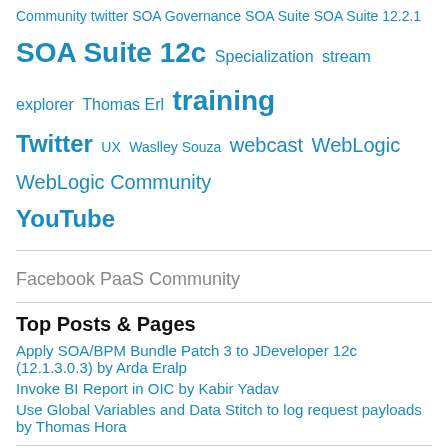Community twitter SOA Governance SOA Suite SOA Suite 12.2.1 SOA Suite 12c Specialization stream explorer Thomas Erl training Twitter UX Waslley Souza webcast WebLogic WebLogic Community YouTube
Facebook PaaS Community
Top Posts & Pages
Apply SOA/BPM Bundle Patch 3 to JDeveloper 12c (12.1.3.0.3) by Arda Eralp
Invoke BI Report in OIC by Kabir Yadav
Use Global Variables and Data Stitch to log request payloads by Thomas Hora